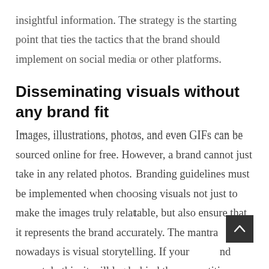insightful information. The strategy is the starting point that ties the tactics that the brand should implement on social media or other platforms.
Disseminating visuals without any brand fit
Images, illustrations, photos, and even GIFs can be sourced online for free. However, a brand cannot just take in any related photos. Branding guidelines must be implemented when choosing visuals not just to make the images truly relatable, but also ensure that it represents the brand accurately. The mantra nowadays is visual storytelling. If your brand cannot do this, it will lag behind the competition